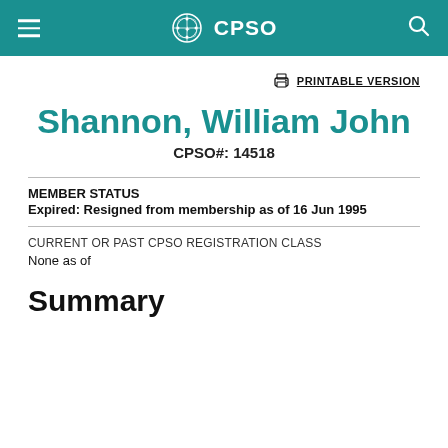CPSO
PRINTABLE VERSION
Shannon, William John
CPSO#: 14518
MEMBER STATUS
Expired: Resigned from membership as of 16 Jun 1995
CURRENT OR PAST CPSO REGISTRATION CLASS
None as of
Summary